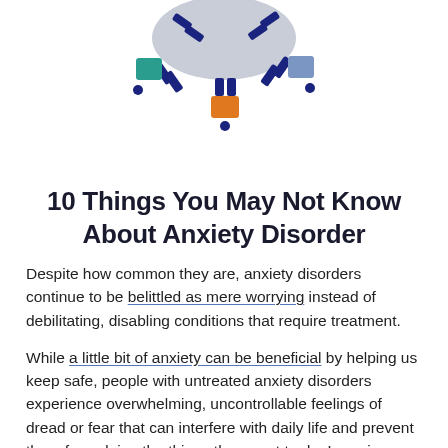[Figure (illustration): A stylized illustration of a brain or neuron-like figure with dark blue connectors and colored square nodes (teal, orange, slate blue), suggesting a network or anxiety-related brain concept.]
10 Things You May Not Know About Anxiety Disorder
Despite how common they are, anxiety disorders continue to be belittled as mere worrying instead of debilitating, disabling conditions that require treatment.
While a little bit of anxiety can be beneficial by helping us keep safe, people with untreated anxiety disorders experience overwhelming, uncontrollable feelings of dread or fear that can interfere with daily life and prevent them from doing the things they want to do. Learning more about these conditions is one way to